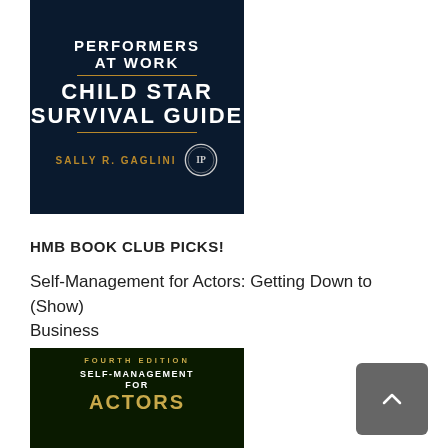[Figure (photo): Book cover for 'Child Star Survival Guide' by Sally R. Gaglini — dark navy background with white bold text 'PERFORMERS AT WORK', gold lines, 'CHILD STAR SURVIVAL GUIDE', author name in gold, and an IP award medallion badge.]
HMB BOOK CLUB PICKS!
Self-Management for Actors: Getting Down to (Show) Business
[Figure (photo): Book cover for 'Self-Management for Actors' Fourth Edition — dark background with gold/white text, subtitle 'Self-Management for Actors' in large letters.]